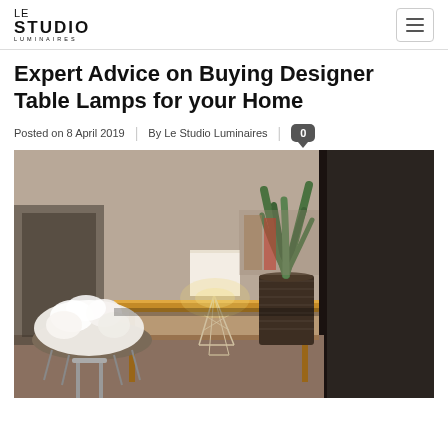LE STUDIO LUMINAIRES
Expert Advice on Buying Designer Table Lamps for your Home
Posted on 8 April 2019 | By Le Studio Luminaires | 0
[Figure (photo): Interior photo of a modern room showing a designer table lamp with wire frame base on a wooden desk, an aloe vera plant in a dark woven pot, and a chair with fluffy white sheepskin cover. Dark wall in background on right side.]